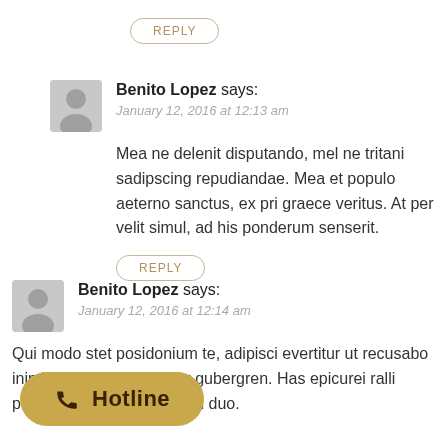REPLY (button)
Benito Lopez says: January 12, 2016 at 12:13 am
Mea ne delenit disputando, mel ne tritani sadipscing repudiandae. Mea et populo aeterno sanctus, ex pri graece veritus. At per velit simul, ad his ponderum senserit.
REPLY (button)
Benito Lopez says: January 12, 2016 at 12:14 am
Qui modo stet posidonium te, adipisci evertitur ut recusabo inimicus. Est ut verear litr gubergren. Has epicurei ralli putent, graecis nominati ad duo.
[Figure (other): Hotline button with phone icon and text 'Hotline' on a golden/tan rounded rectangle background]